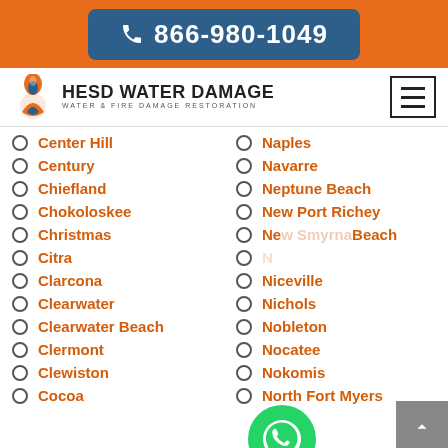866-980-1049
[Figure (logo): HESD Water Damage logo with flame icon and hamburger menu]
Center Hill
Naples
Century
Navarre
Chiefland
Neptune Beach
Chokoloskee
New Port Richey
Christmas
New Smyrna Beach
Citra
Niceville
Clarcona
Niceville
Clearwater
Nichols
Clearwater Beach
Nobleton
Clermont
Nocatee
Clewiston
Nokomis
Cocoa
North Fort Myers